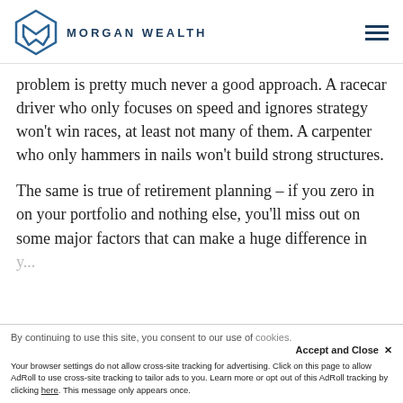MORGAN WEALTH
problem is pretty much never a good approach. A racecar driver who only focuses on speed and ignores strategy won't win races, at least not many of them. A carpenter who only hammers in nails won't build strong structures.
The same is true of retirement planning – if you zero in on your portfolio and nothing else, you'll miss out on some major factors that can make a huge difference in y...
By continuing to use this site, you consent to our use of cookies.
Accept and Close ✕
Your browser settings do not allow cross-site tracking for advertising. Click on this page to allow AdRoll to use cross-site tracking to tailor ads to you. Learn more or opt out of this AdRoll tracking by clicking here. This message only appears once.